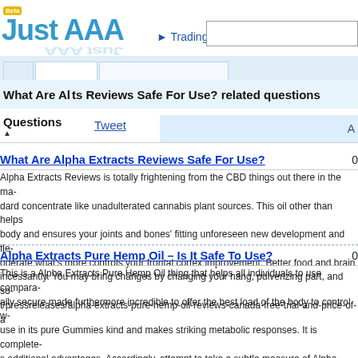Just AAA — Beta | Trading FAQs | Search box
What Are Alpha Extracts Reviews Safe For Use? related questions
Tweet
Questions
What Are Alpha Extracts Reviews Safe For Use?
Alpha Extracts Reviews is totally frightening from the CBD things out there in the ma- dard concentrate like unadulterated cannabis plant sources. This oil other than helps body and ensures your joints and bones' fitting unforeseen new development and fle- oderate what's more controls your frontal cortex improvement. Better food and brain incessantly. You may bring changes by changing your hang, pulverizing part, and so- t/pressreleases/alpha-extracts-pure-hemp-oil-reviews-canada-free-trial-and-price-of-a
Alpha Extracts Pure Hemp Oil – Is It Safe To Use?
This is a Alpha Extracts Pure Hemp Oil thing that helps all individuals to use compara- ally secure made furthermore incredible to offer the best load of the body to control w- use in its pure Gummies kind and makes striking metabolic responses. It is complete- s additional advantages. Accordingly, attempt to take a subtle measure of Alpha Extr-